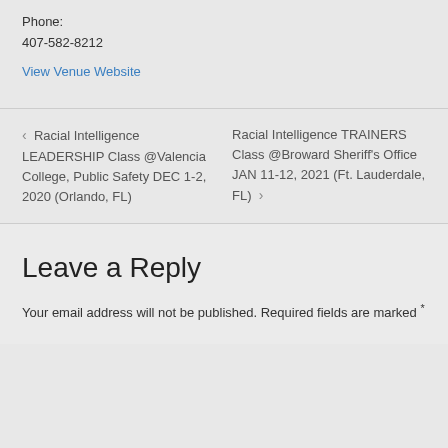Phone:
407-582-8212
View Venue Website
< Racial Intelligence LEADERSHIP Class @Valencia College, Public Safety DEC 1-2, 2020 (Orlando, FL)
Racial Intelligence TRAINERS Class @Broward Sheriff's Office JAN 11-12, 2021 (Ft. Lauderdale, FL) >
Leave a Reply
Your email address will not be published. Required fields are marked *